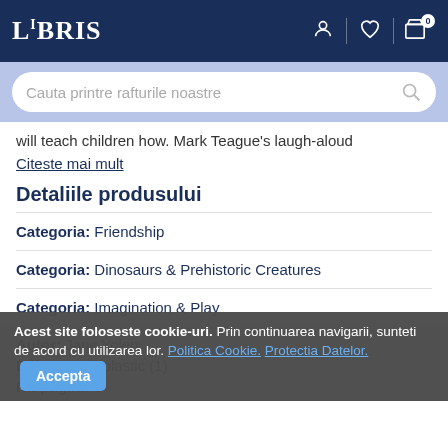LIBRIS
will teach children how. Mark Teague's laugh-aloud
Citeste mai mult
Detaliile produsului
Categoria: Friendship
Categoria: Dinosaurs & Prehistoric Creatures
Categoria: Imagination & Play
Autor: Jane Yolen
Editura: Scholastic (1)
Nr. pagini: 6
Acest site foloseste cookie-uri. Prin continuarea navigarii, sunteti de acord cu utilizarea lor. Politica Cookie. Protectia Datelor.   Accepta